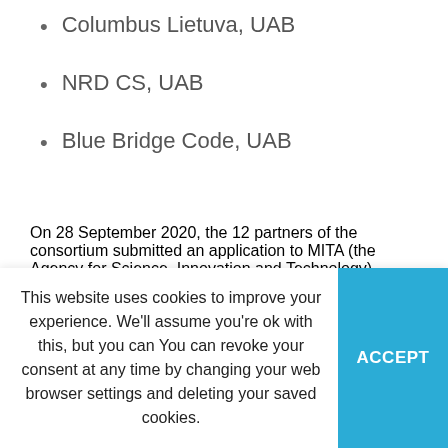Columbus Lietuva, UAB
NRD CS, UAB
Blue Bridge Code, UAB
On 28 September 2020, the 12 partners of the consortium submitted an application to MITA (the Agency for Science, Innovation and Technology) aiming to receive EU funding for EDIH activities. EDIH activities are administered by EDIH
This website uses cookies to improve your experience. We'll assume you're ok with this, but you can You can revoke your consent at any time by changing your web browser settings and deleting your saved cookies.